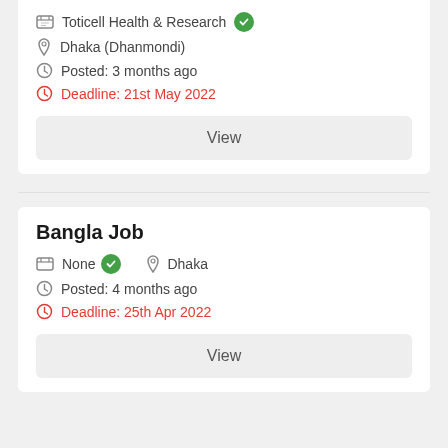Toticell Health & Research
Dhaka (Dhanmondi)
Posted: 3 months ago
Deadline: 21st May 2022
View
Bangla Job
None   Dhaka
Posted: 4 months ago
Deadline: 25th Apr 2022
View